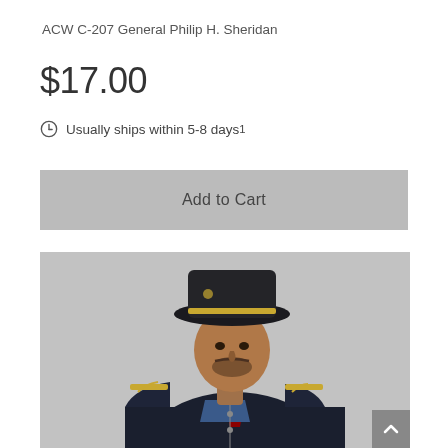ACW C-207 General Philip H. Sheridan
$17.00
Usually ships within 5-8 days¹
Add to Cart
[Figure (photo): Close-up photo of a painted miniature figurine depicting General Philip H. Sheridan in Union Army uniform with dark wide-brimmed hat with gold trim, blue collar visible, red necktie, and dark coat with epaulettes. The figurine is set against a grey background.]